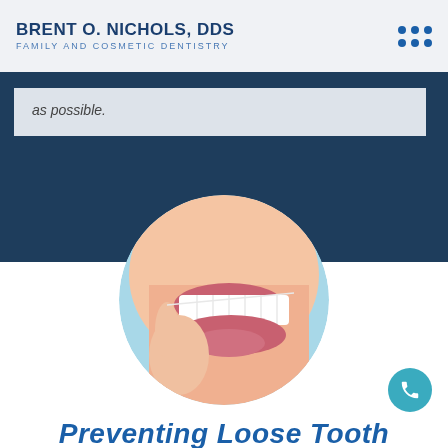BRENT O. NICHOLS, DDS
FAMILY AND COSMETIC DENTISTRY
as possible.
[Figure (photo): Circular cropped photo of a close-up of a person's smile, showing white teeth, with dental floss being held near the mouth by a hand, on a light blue background.]
Preventing Loose Tooth